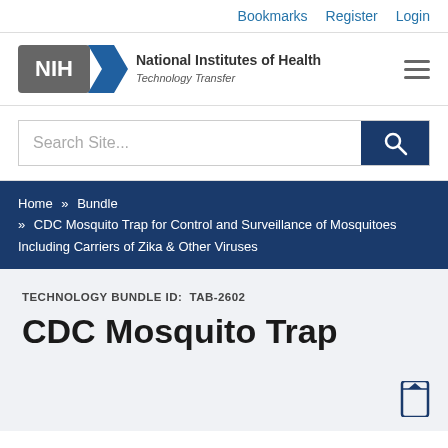Bookmarks   Register   Login
[Figure (logo): NIH National Institutes of Health Technology Transfer logo with blue chevron arrow]
Search Site...
Home » Bundle » CDC Mosquito Trap for Control and Surveillance of Mosquitoes Including Carriers of Zika & Other Viruses
TECHNOLOGY BUNDLE ID:  TAB-2602
CDC Mosquito Trap